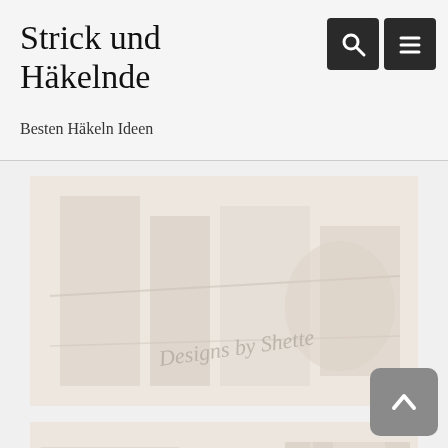Strick und Häkelnde
Besten Häkeln Ideen
[Figure (photo): Faded/washed-out photo of crocheting or craft materials with script watermark text reading 'Designs by Shette']
[Figure (photo): Faded/washed-out collage of crocheting or knitting related images, including what appears to be pattern booklets and craft items]